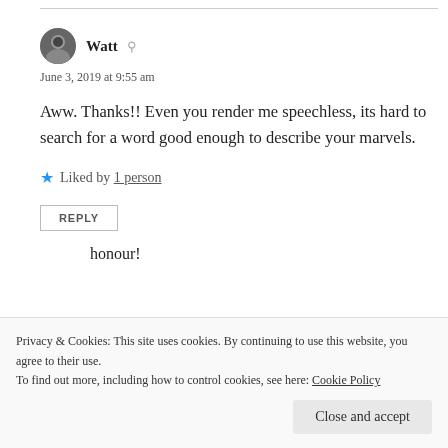Watt
June 3, 2019 at 9:55 am
Aww. Thanks!! Even you render me speechless, its hard to search for a word good enough to describe your marvels.
Liked by 1 person
REPLY
Privacy & Cookies: This site uses cookies. By continuing to use this website, you agree to their use.
To find out more, including how to control cookies, see here: Cookie Policy
Close and accept
honour!